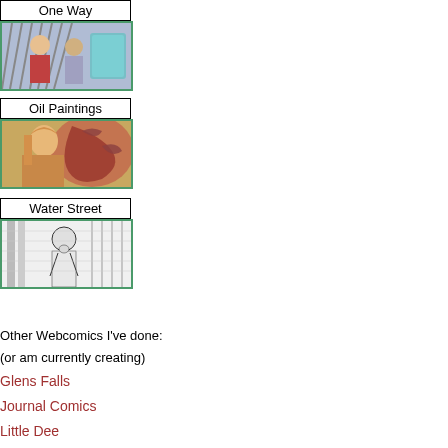[Figure (illustration): Navigation block for 'One Way' webcomic with label and illustrated thumbnail showing two cartoon characters]
[Figure (illustration): Navigation block for 'Oil Paintings' with label and thumbnail showing a painted figure]
[Figure (illustration): Navigation block for 'Water Street' with label and black-and-white comic thumbnail]
Other Webcomics I've done:
(or am currently creating)
Glens Falls
Journal Comics
Little Dee